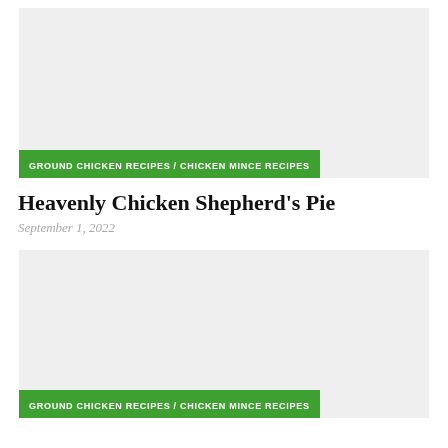[Figure (photo): Recipe card image placeholder - light gray rectangle with green category tag bar at bottom reading GROUND CHICKEN RECIPES / CHICKEN MINCE RECIPES]
Heavenly Chicken Shepherd's Pie
September 1, 2022
[Figure (photo): Second recipe card image placeholder - light gray rectangle with green category tag bar at bottom reading GROUND CHICKEN RECIPES / CHICKEN MINCE RECIPES]